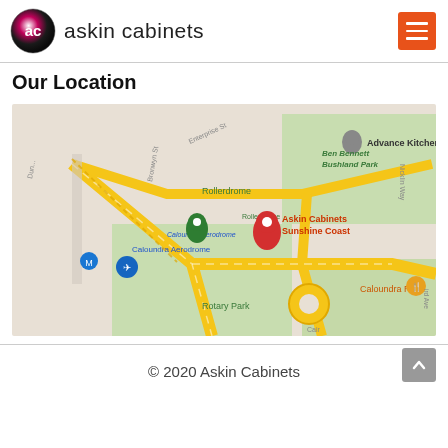askin cabinets
Our Location
[Figure (map): Google Maps screenshot showing location of Askin Cabinets Sunshine Coast near Caloundra Aerodrome, with landmarks including Rollerdrome, Ben Bennett Bushland Park, Caloundra RSL, Rotary Park, and Advance Kitchens. Major roads shown in yellow. Red location pin marks Askin Cabinets Sunshine Coast.]
© 2020 Askin Cabinets